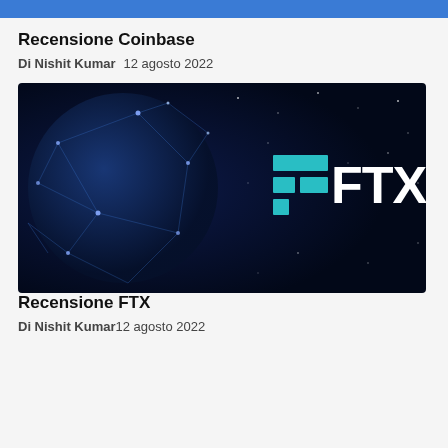Recensione Coinbase
Di Nishit Kumar   12 agosto 2022
[Figure (photo): FTX cryptocurrency exchange promotional image showing a globe network on the left and the FTX logo (teal geometric icon and white FTX text) on a dark blue background with stars]
Recensione FTX
Di Nishit Kumar   12 agosto 2022